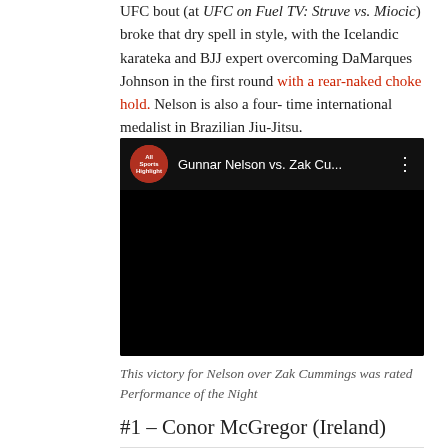UFC bout (at UFC on Fuel TV: Struve vs. Miocic) broke that dry spell in style, with the Icelandic karateka and BJJ expert overcoming DaMarques Johnson in the first round with a rear-naked choke hold. Nelson is also a four-time international medalist in Brazilian Jiu-Jitsu.
[Figure (screenshot): Embedded YouTube video thumbnail showing 'Gunnar Nelson vs. Zak Cu...' with an All Sports Highlight channel avatar on a black background.]
This victory for Nelson over Zak Cummings was rated Performance of the Night
#1 – Conor McGregor (Ireland)